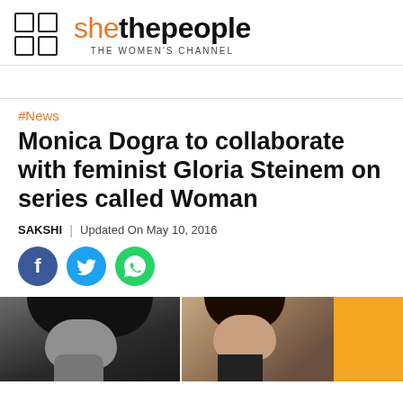shethepeople THE WOMEN'S CHANNEL
#News
Monica Dogra to collaborate with feminist Gloria Steinem on series called Woman
SAKSHI | Updated On May 10, 2016
[Figure (illustration): Social media share buttons: Facebook (blue circle), Twitter (light blue circle), WhatsApp (green circle)]
[Figure (photo): Two-panel photo strip: left panel shows black and white portrait of a woman (Monica Dogra), right panel shows another woman on what appears to be a fashion runway, with an orange/yellow background on the far right]